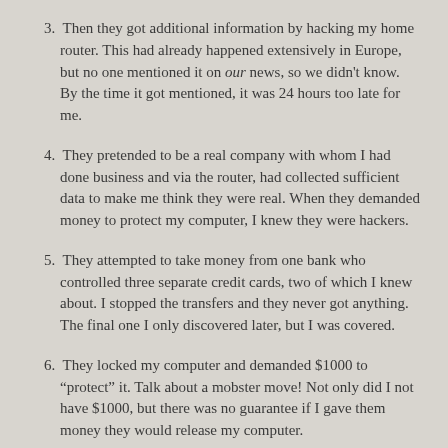3.  Then they got additional information by hacking my home router. This had already happened extensively in Europe, but no one mentioned it on our news, so we didn't know. By the time it got mentioned, it was 24 hours too late for me.
4.  They pretended to be a real company with whom I had done business and via the router, had collected sufficient data to make me think they were real. When they demanded money to protect my computer, I knew they were hackers.
5.  They attempted to take money from one bank who controlled three separate credit cards, two of which I knew about. I stopped the transfers and they never got anything. The final one I only discovered later, but I was covered.
6.  They locked my computer and demanded $1000 to "protect" it. Talk about a mobster move! Not only did I not have $1000, but there was no guarantee if I gave them money they would release my computer.
7.  To get my computer back, I had to rebuild it. From scratch. Which was not so bad — boring but not difficult. Because I back up